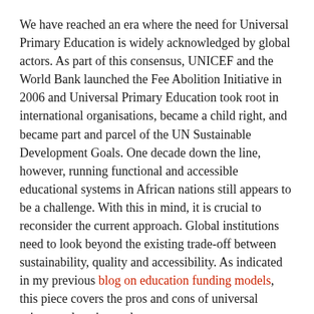We have reached an era where the need for Universal Primary Education is widely acknowledged by global actors. As part of this consensus, UNICEF and the World Bank launched the Fee Abolition Initiative in 2006 and Universal Primary Education took root in international organisations, became a child right, and became part and parcel of the UN Sustainable Development Goals. One decade down the line, however, running functional and accessible educational systems in African nations still appears to be a challenge. With this in mind, it is crucial to reconsider the current approach. Global institutions need to look beyond the existing trade-off between sustainability, quality and accessibility. As indicated in my previous blog on education funding models, this piece covers the pros and cons of universal primary education and propose next steps to start working on a sustainable strategy for African countries to harmonise quality and access.
The right to education embodies all human beings' entitlement to primary education, regardless of their position in society. It is based on the idea that the circumstances of a child at birth